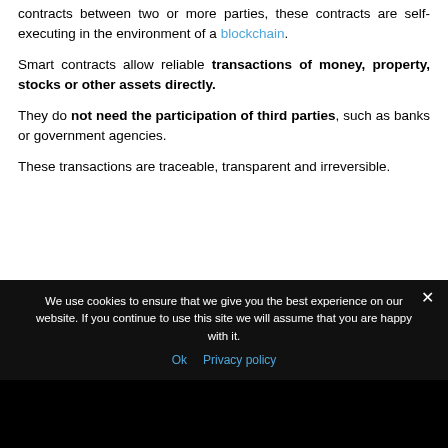contracts between two or more parties, these contracts are self-executing in the environment of a blockchain.
Smart contracts allow reliable transactions of money, property, stocks or other assets directly.
They do not need the participation of third parties, such as banks or government agencies.
These transactions are traceable, transparent and irreversible.
We use cookies to ensure that we give you the best experience on our website. If you continue to use this site we will assume that you are happy with it.